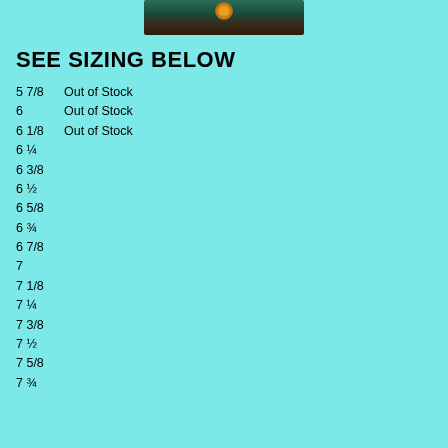[Figure (photo): Photo of a hat with a decorative badge/pin on top, dark teal/brown coloring]
SEE SIZING BELOW
5 7/8   Out of Stock
6       Out of Stock
6 1/8   Out of Stock
6 ¼
6 3/8
6 ½
6 5/8
6 ¾
6 7/8
7
7 1/8
7 ¼
7 3/8
7 ½
7 5/8
7 ¾